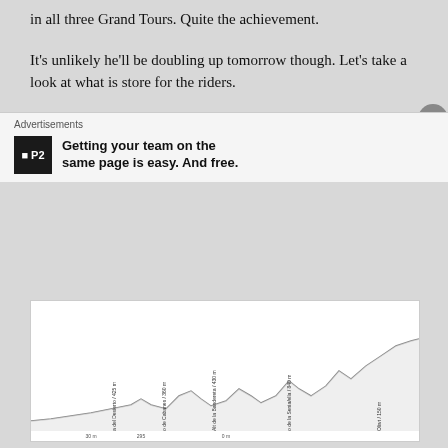in all three Grand Tours. Quite the achievement.
It's unlikely he'll be doubling up tomorrow though. Let's take a look at what is store for the riders.
The Route
A rolling day in the saddle that typifies the Vuelta.
[Figure (other): Stage route elevation profile chart showing the route from BENICÀSSIM (10 m) to ALCOSSEBRE (340 m), with Ermita Sta. Lucía / 340m marked at the finish. Various climbs labeled along the route in rotated text.]
Advertisements
Getting your team on the same page is easy. And free.